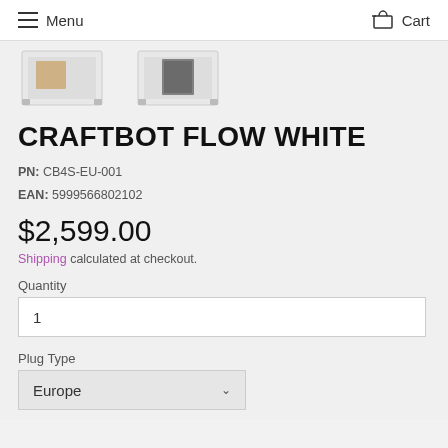Menu   Cart
[Figure (photo): Two white CraftBot 3D printers shown from slight angle, partially cropped at top]
CRAFTBOT FLOW WHITE
PN: CB4S-EU-001
EAN: 5999566802102
$2,599.00
Shipping calculated at checkout.
Quantity
1
Plug Type
Europe